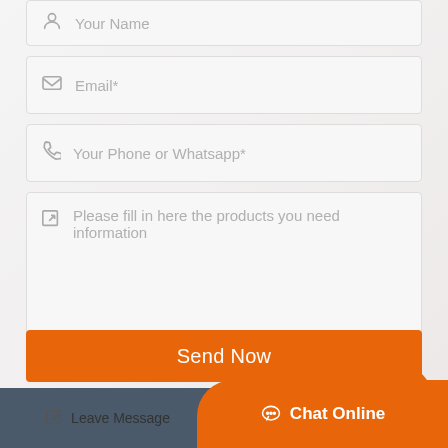[Figure (screenshot): Contact form with fields: Your Name (partially visible at top), Email*, Your Phone or Whatsapp*, message textarea, Send Now button, scroll-to-top circle, footer bar with Leave Message and Chat Online buttons]
Your Name
Email*
Your Phone or Whatsapp*
Please fill in here the products you need information
Send Now
Leave Message
Chat Online